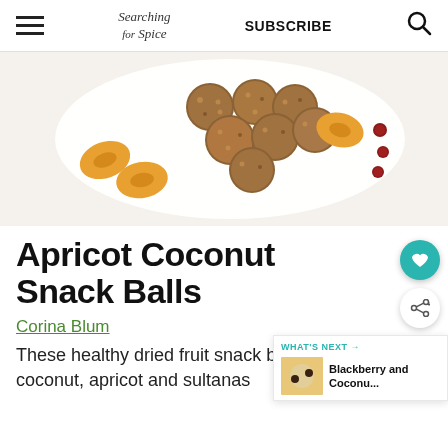Searching for Spice | SUBSCRIBE
[Figure (photo): A white plate with apricot coconut snack balls, surrounded by dried apricot slices and scattered cranberries on a white background]
Apricot Coconut Snack Balls
Corina Blum
These healthy dried fruit snack balls made with coconut, apricot and sultanas